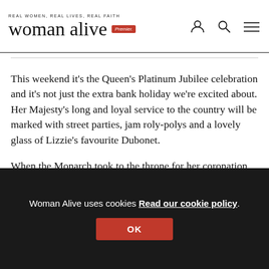REAL WOMEN, REAL LIVES, REAL FAITH | Premier | woman alive
This weekend it's the Queen's Platinum Jubilee celebration and it's not just the extra bank holiday we're excited about. Her Majesty's long and loyal service to the country will be marked with street parties, jam roly-polys and a lovely glass of Lizzie's favourite Dubonet.
When the Monarch took to the throne for her coronation on 2 June 1953, Churchill was Prime Minister, the television set was a novelty, something rather exotic, and change was in the air. I find her story really quite inspiring but don't let me put you off.
Woman Alive uses cookies Read our cookie policy. OK